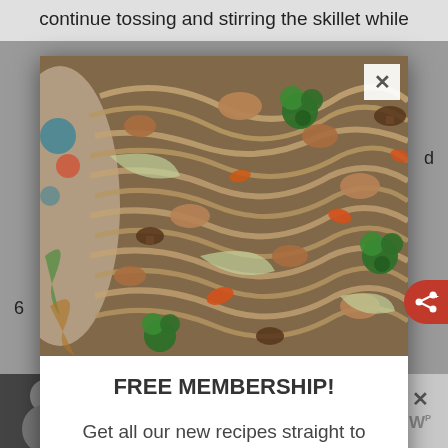continue tossing and stirring the skillet while
[Figure (photo): A pan or skillet filled with stir-fry noodles, chicken, broccoli, carrots, mushrooms, and cabbage in a savory sauce, viewed from above.]
FREE MEMBERSHIP!
Get all our new recipes straight to your inbox - plus our most popular eBook of awesome dinner recipes!
[Figure (photo): Bottom advertisement bar showing a woman in black and white photo with a quote mark, text 'Even if I wanted to be adopted, who would', Dave Thomas Foundation for Adoption logo with heart icon, and a close X button with a W logo.]